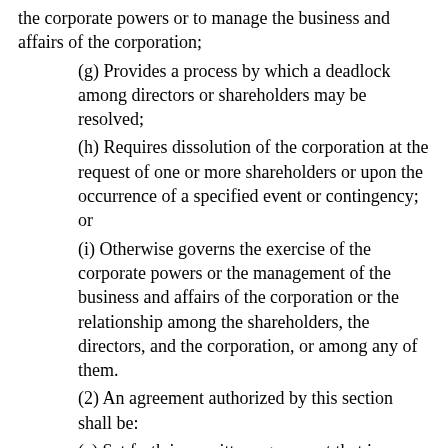the corporate powers or to manage the business and affairs of the corporation;
(g) Provides a process by which a deadlock among directors or shareholders may be resolved;
(h) Requires dissolution of the corporation at the request of one or more shareholders or upon the occurrence of a specified event or contingency; or
(i) Otherwise governs the exercise of the corporate powers or the management of the business and affairs of the corporation or the relationship among the shareholders, the directors, and the corporation, or among any of them.
(2) An agreement authorized by this section shall be:
(a) Set forth in a written agreement that is executed by all persons who are shareholders at the time of the agreement and is made known to the corporation; and
(b) Subject to amendment only by all persons who are shareholders at the time of the amendment, unless the agreement provides otherwise.
(3) The existence of an agreement authorized by